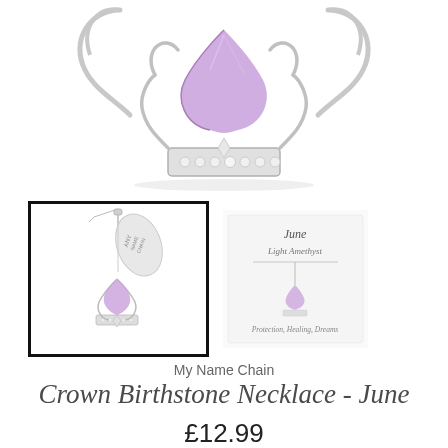[Figure (photo): Close-up product photo of a silver crown birthstone necklace pendant with a purple/lavender heart-shaped gemstone, showing decorative scrollwork and crystal accents on a white background]
[Figure (photo): Small thumbnail photo of the crown birthstone necklace pendant with tag, shown in a black-bordered box]
[Figure (photo): Small secondary image showing the necklace on a card with text 'June, Light Amethyst' and 'Protection, Healing, Dreams']
My Name Chain
Crown Birthstone Necklace - June
£12.99
Tax included